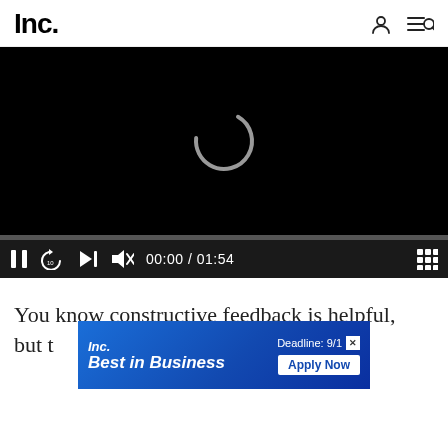Inc.
[Figure (screenshot): Video player with black screen showing a loading spinner (circular arc), progress bar, and playback controls: pause button, replay-10 button, next button, mute button, timestamp 00:00 / 01:54, and grid/fullscreen icon.]
You know constructive feedback is helpful, but t…ry
[Figure (screenshot): Inc. Best in Business advertisement banner. Shows 'Inc.' logo and 'Best in Business' text on blue gradient background, with 'Deadline: 9/1' and 'Apply Now' button on the right, and a close (X) button.]